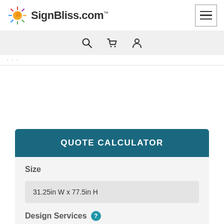SignBliss.com
🔍 🛒 👤
...
QUOTE CALCULATOR
Size
31.25in W x 77.5in H
Design Services ?